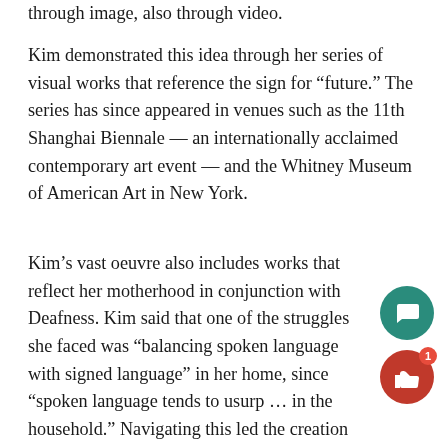through image, also through video.
Kim demonstrated this idea through her series of visual works that reference the sign for “future.” The series has since appeared in venues such as the 11th Shanghai Biennale — an internationally acclaimed contemporary art event — and the Whitney Museum of American Art in New York.
Kim’s vast oeuvre also includes works that reflect her motherhood in conjunction with Deafness. Kim said that one of the struggles she faced was “balancing spoken language with signed language” in her home, since “spoken language tends to usurp … in the household.” Navigating this led the creation of her musical piece One Week of Lullabies for Roux. The installation, held at the White Space Beijing booth, was inspired by the baby monitor she bought for her daughter Roux.